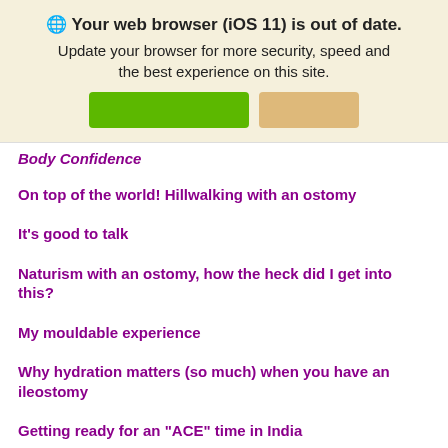[Figure (screenshot): Browser update banner with globe icon, bold title, subtitle, green and tan buttons]
Body Confidence
On top of the world! Hillwalking with an ostomy
It's good to talk
Naturism with an ostomy, how the heck did I get into this?
My mouldable experience
Why hydration matters (so much) when you have an ileostomy
Getting ready for an "ACE" time in India
I will no longer be a passenger in life....